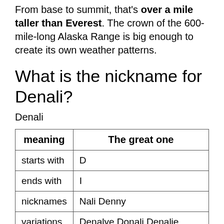From base to summit, that's over a mile taller than Everest. The crown of the 600-mile-long Alaska Range is big enough to create its own weather patterns.
What is the nickname for Denali?
Denali
| meaning | The great one |
| --- | --- |
| starts with | D |
| ends with | I |
| nicknames | Nali Denny |
| variations | Denalye Donali Denalie Dinali |